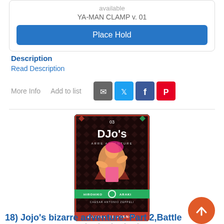available
YA-MAN CLAMP v. 01
Place Hold
Description
Read Description
More Info   Add to list
[Figure (illustration): Book cover of JoJo's Bizarre Adventure Part 2 Battle Tendency volume 03 by Hirohiko Araki, featuring Caesar Antonio Zeppeli on a dark diamond-pattern background with red and green accents]
18) Jojo's bizarre adventure: Part 2,Battle